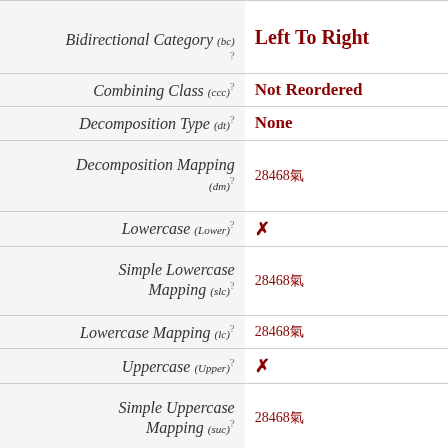| Property | Value |
| --- | --- |
| Bidirectional Category (bc) ? | Left To Right |
| Combining Class (ccc) ? | Not Reordered |
| Decomposition Type (dt) ? | None |
| Decomposition Mapping (dm) ? | 28468氣 |
| Lowercase (Lower) ? | ✗ |
| Simple Lowercase Mapping (slc) ? | 28468氣 |
| Lowercase Mapping (lc) ? | 28468氣 |
| Uppercase (Upper) ? | ✗ |
| Simple Uppercase Mapping (suc) ? | 28468氣 |
| Uppercase Mapping (uc) ? | 28468氣 |
| Simple Titlecase Mapping (stc) ? | 28468氣 |